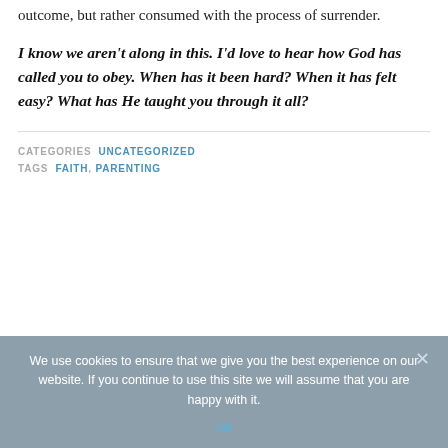outcome, but rather consumed with the process of surrender.
I know we aren't along in this. I'd love to hear how God has called you to obey. When has it been hard? When it has felt easy? What has He taught you through it all?
CATEGORIES  UNCATEGORIZED
TAGS  FAITH, PARENTING
We use cookies to ensure that we give you the best experience on our website. If you continue to use this site we will assume that you are happy with it.
Ok